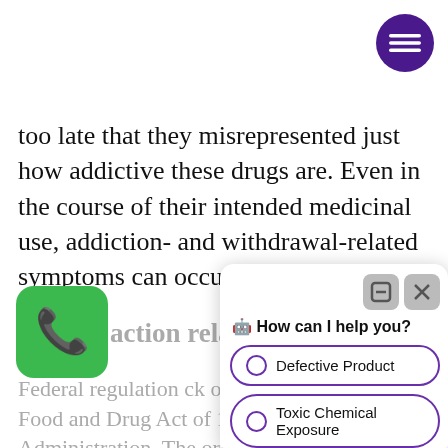[Figure (other): Purple hamburger menu button (three lines) in top-right corner]
too late that they misrepresented just how addictive these drugs are. Even in the course of their intended medicinal use, addiction- and withdrawal-related symptoms can occur.
[Figure (other): Green phone/call icon button (rounded square) on left side]
action related to opioid drugs
Federal regulation ... ck over a century to the Pure Food and Drug Act of 1906, which predated the ... Administration. The original Pure Food and Drug Act of 1906 wa ... rder to protect the public from additives in food and from pharmaceuticals that were unidentified
[Figure (other): Chatbot overlay widget with header 'How can I help you?' and three radio options: Defective Product, Toxic Chemical Exposure, Medications]